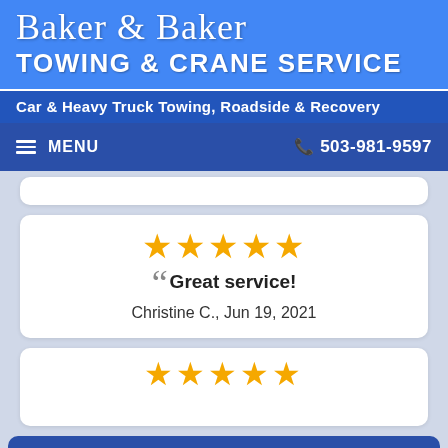Baker & Baker
Towing & Crane Service
Car & Heavy Truck Towing, Roadside & Recovery
MENU   503-981-9597
★★★★★
“Great service!
Christine C., Jun 19, 2021
[Figure (other): Five gold stars rating]
Call a Tow Truck Near You